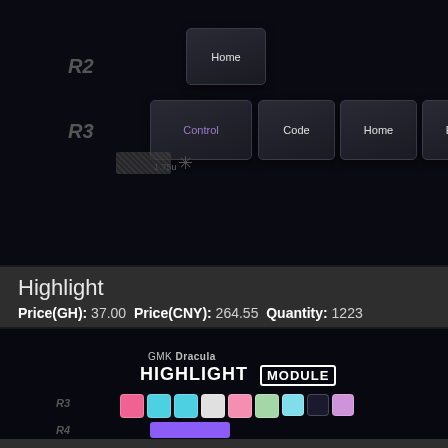[Figure (photo): Dark-themed keyboard keycaps on a black background. Top section shows R2 and R3 row labels with keycaps labeled Home, Control (purple text), Code, Home, End. A 1.75u size label is visible. A texture patch and asterisk icon appear in the lower portion. The Control keycap text is in purple.]
Highlight
Price(GH): 37.00 Price(CNY): 264.55 Quantity: 1223
[Figure (photo): Dark background with GMK Dracula branding. Shows 'GMK Dracula' in small text above 'HIGHLIGHT MODULE' where MODULE is in a white bordered badge. Below are colorful keycaps in a row: pink, teal, teal, cream, pink, green, cyan, teal/dark, and purple. R3 and R4 row labels visible on left. A purple keycap bar visible at bottom.]